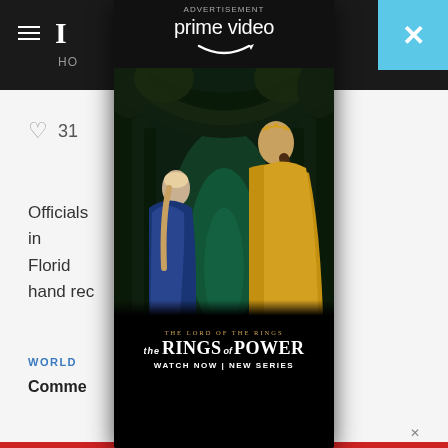Navigation bar with hamburger menu, newspaper logo, HO label
31
Officials ... recount in Florida ... ugh hand rec...
WORLD
Commem... ...im':
[Figure (screenshot): Amazon Prime Video advertisement overlay for 'The Lord of the Rings: The Rings of Power'. Shows the Prime Video logo with smile arrow, two female characters in a magical forest with arched trees and lanterns, gold and blue cloaks. Bottom text: THE LORD OF THE RINGS / THE RINGS OF POWER / WATCH NOW | NEW SERIES. Overlaid on a news website background with ADVERTISEMENT label at top.]